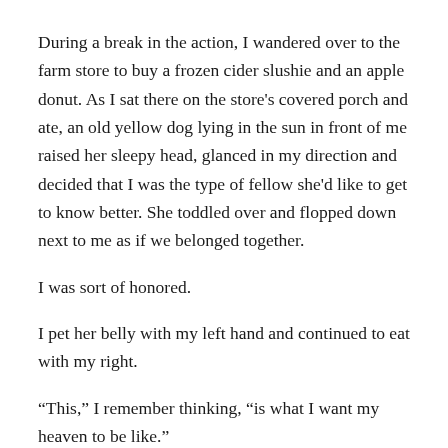During a break in the action, I wandered over to the farm store to buy a frozen cider slushie and an apple donut. As I sat there on the store's covered porch and ate, an old yellow dog lying in the sun in front of me raised her sleepy head, glanced in my direction and decided that I was the type of fellow she'd like to get to know better. She toddled over and flopped down next to me as if we belonged together.
I was sort of honored.
I pet her belly with my left hand and continued to eat with my right.
“This,” I remember thinking, “is what I want my heaven to be like.”
This moment of bliss was quite a turnaround for me. Ten minutes before I met that dog, I was grumbling about the heat. Five minutes after that, I was filled with exhausted relief, thanking God for creating a world that included the cider slushie. And five minutes